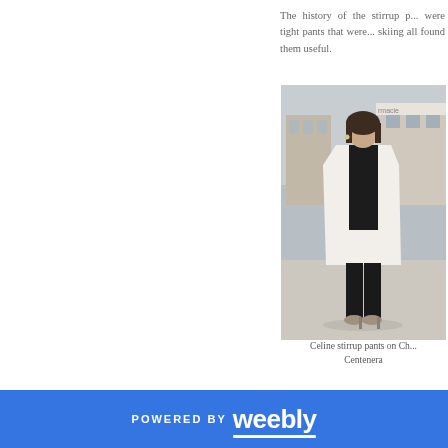The history of the stirrup p... were tight pants that were... skiing all found them useful.
[Figure (photo): Woman wearing Celine stirrup pants with a long white cape coat, standing on a street in Paris]
Celine stirrup pants on Ch... Centenera
POWERED BY weebly